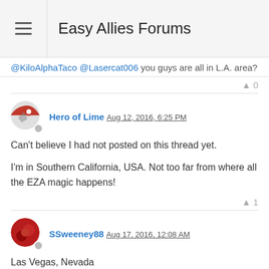Easy Allies Forums
@KiloAlphaTaco @Lasercat006 you guys are all in L.A. area?
▲ 0
Hero of Lime Aug 12, 2016, 6:25 PM
Can't believe I had not posted on this thread yet.

I'm in Southern California, USA. Not too far from where all the EZA magic happens!
▲ 1
SSweeney88 Aug 17, 2016, 12:08 AM
Las Vegas, Nevada
▲ 0
TMcNeil21 Aug 17, 2016, 11:41 AM